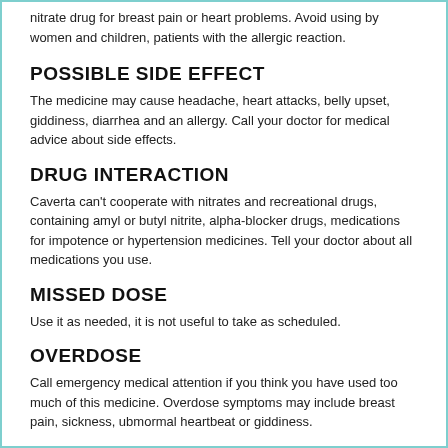nitrate drug for breast pain or heart problems. Avoid using by women and children, patients with the allergic reaction.
POSSIBLE SIDE EFFECT
The medicine may cause headache, heart attacks, belly upset, giddiness, diarrhea and an allergy. Call your doctor for medical advice about side effects.
DRUG INTERACTION
Caverta can't cooperate with nitrates and recreational drugs, containing amyl or butyl nitrite, alpha-blocker drugs, medications for impotence or hypertension medicines. Tell your doctor about all medications you use.
MISSED DOSE
Use it as needed, it is not useful to take as scheduled.
OVERDOSE
Call emergency medical attention if you think you have used too much of this medicine. Overdose symptoms may include breast pain, sickness, ubmormal heartbeat or giddiness.
STORAGE